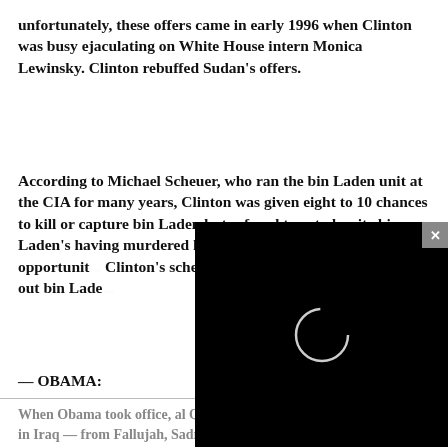unfortunately, these offers came in early 1996 when Clinton was busy ejaculating on White House intern Monica Lewinsky. Clinton rebuffed Sudan's offers.
According to Michael Scheuer, who ran the bin Laden unit at the CIA for many years, Clinton was given eight to 10 chances to kill or capture bin Laden but refused to act, despite bin Laden's having murdered h... terrorist attacks ar... of those opportunit... Clinton's schedule... pointlessly bombin... taken out bin Lade...
[Figure (screenshot): Black video player overlay with loading spinner circle and close button (x) in top right corner]
— OBAMA:
When Obama took office, al Qaida had been routed in Iraq — from Fallujah, Sadr City, and Ba...